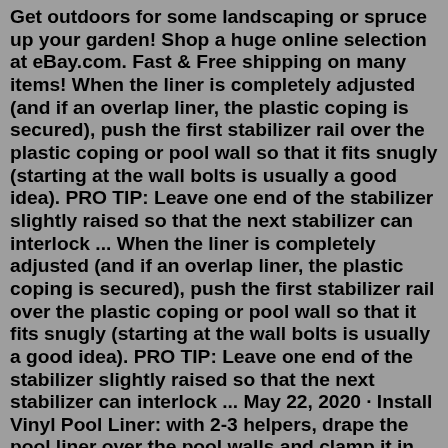Get outdoors for some landscaping or spruce up your garden! Shop a huge online selection at eBay.com. Fast & Free shipping on many items! When the liner is completely adjusted (and if an overlap liner, the plastic coping is secured), push the first stabilizer rail over the plastic coping or pool wall so that it fits snugly (starting at the wall bolts is usually a good idea). PRO TIP: Leave one end of the stabilizer slightly raised so that the next stabilizer can interlock ... When the liner is completely adjusted (and if an overlap liner, the plastic coping is secured), push the first stabilizer rail over the plastic coping or pool wall so that it fits snugly (starting at the wall bolts is usually a good idea). PRO TIP: Leave one end of the stabilizer slightly raised so that the next stabilizer can interlock ... May 22, 2020 · Install Vinyl Pool Liner: with 2-3 helpers, drape the pool liner over the pool walls and clamp it in place with the coping strips. For beaded liners, attach the bead receiver to the top of the pool wall and snap the liner edge into the track. Pl...